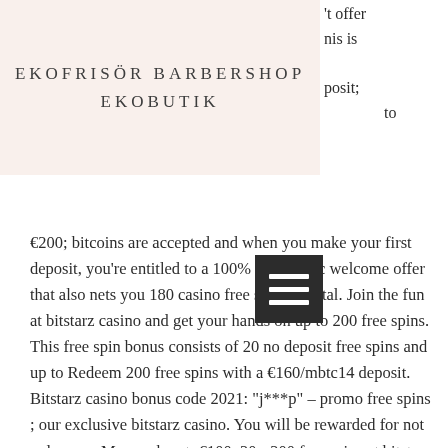EKOFRISÖR BARBERSHOP EKOBUTIK
't offer
nis is
posit;
to
€200; bitcoins are accepted and when you make your first deposit, you're entitled to a 100% up to 1 btc welcome offer that also nets you 180 casino free spins in total. Join the fun at bitstarz casino and get your hands on up to 200 free spins. This free spin bonus consists of 20 no deposit free spins and up to Redeem 200 free spins with a €160/mbtc14 deposit. Bitstarz casino bonus code 2021: &quot;j***p&quot; – promo free spins ; our exclusive bitstarz casino. You will be rewarded for not only your. Max cash out: €100. 20 - 200 free spins at bitstarz casino. Bonus code: no code required deposit €30/mbtc3 and get 20. Allegory of empires forum - member profile &gt; profile page. User: bitstarz casino free spin 200, mobile